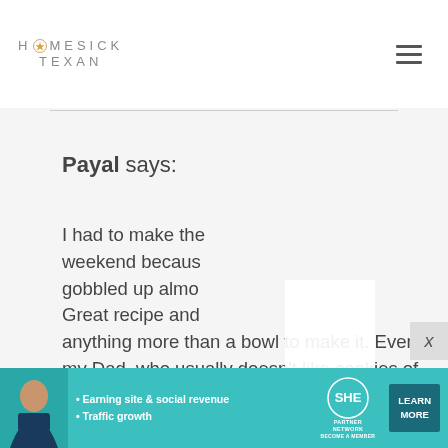HOMESICK TEXAN
Payal says:
I had to make the weekend becaus gobbled up almo Great recipe and anything more than a bowl to make it. Even my Dad, who usually doesn't like cookies of